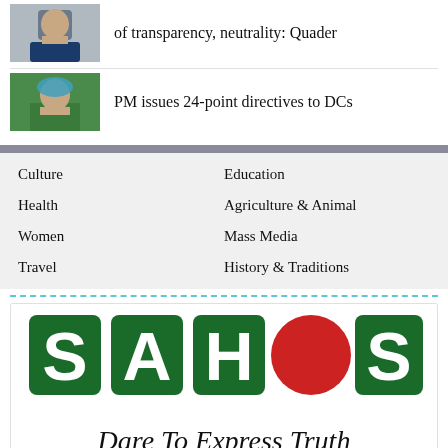of transparency, neutrality: Quader
PM issues 24-point directives to DCs
Culture
Education
Health
Agriculture & Animal
Women
Mass Media
Travel
History & Traditions
[Figure (logo): SAHOS logo with letters S, A, H, red circle, S on dark green squares, tagline: Dare To Express Truth]